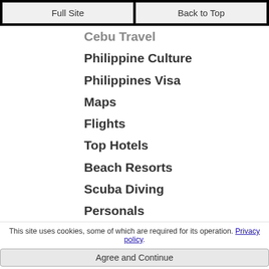Full Site | Back to Top
Cebu Travel
Philippine Culture
Philippines Visa
Maps
Flights
Top Hotels
Beach Resorts
Scuba Diving
Personals
Real Estate
Cebu NightLife
Health/Wellness
News and Links
Jobs
Business
This site uses cookies, some of which are required for its operation. Privacy policy.
Agree and Continue